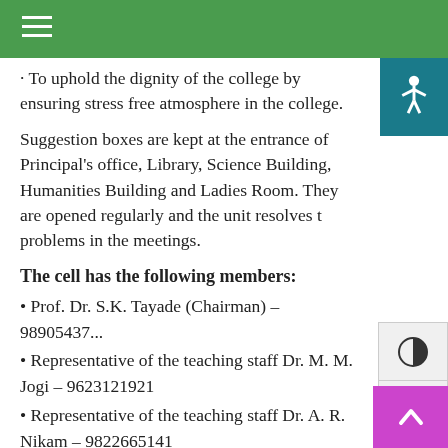· To uphold the dignity of the college by ensuring stress free atmosphere in the college.
Suggestion boxes are kept at the entrance of Principal's office, Library, Science Building, Humanities Building and Ladies Room. They are opened regularly and the unit resolves the problems in the meetings.
The cell has the following members:
• Prof. Dr. S.K. Tayade (Chairman) – 9890543738
• Representative of the teaching staff Dr. M. M. Jogi – 9623121921
• Representative of the teaching staff Dr. A. R. Nikam – 9822665141
• Representative of the non-teaching staff Shri. J. J. Chavan – 9021720727